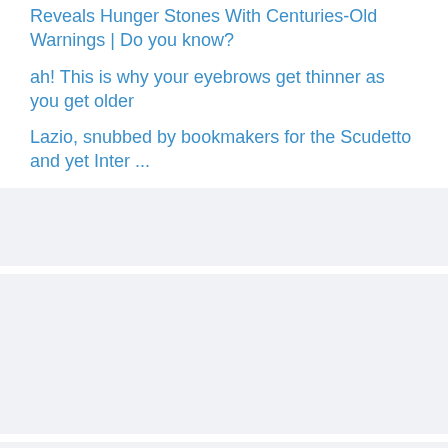Reveals Hunger Stones With Centuries-Old Warnings | Do you know?
ah! This is why your eyebrows get thinner as you get older
Lazio, snubbed by bookmakers for the Scudetto and yet Inter ...
[Figure (other): Gray placeholder band 1]
[Figure (other): Gray placeholder band 2]
[Figure (other): Gray placeholder band 3]